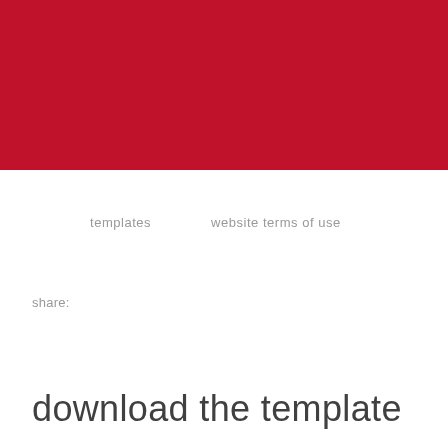[Figure (other): Solid dark red/crimson rectangular block filling the top portion of the page]
templates    website terms of use
share:
download the template